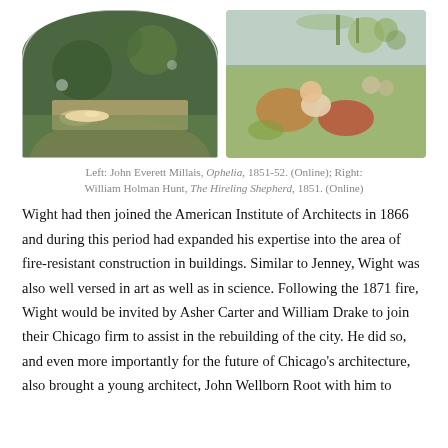[Figure (photo): Two Pre-Raphaelite paintings side by side. Left: John Everett Millais, Ophelia, showing a woman floating in a stream surrounded by foliage. Right: William Holman Hunt, The Hireling Shepherd, showing a shepherd and woman in a pastoral landscape.]
Left: John Everett Millais, Ophelia, 1851-52. (Online); Right: William Holman Hunt, The Hireling Shepherd, 1851. (Online)
Wight had then joined the American Institute of Architects in 1866 and during this period had expanded his expertise into the area of fire-resistant construction in buildings. Similar to Jenney, Wight was also well versed in art as well as in science. Following the 1871 fire, Wight would be invited by Asher Carter and William Drake to join their Chicago firm to assist in the rebuilding of the city. He did so, and even more importantly for the future of Chicago's architecture, also brought a young architect, John Wellborn Root with him to